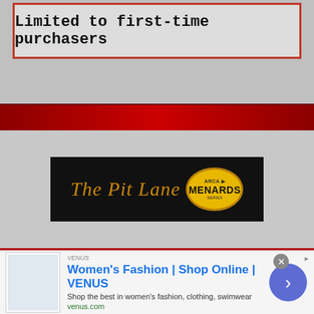[Figure (screenshot): Top advertisement box with red border and text 'Limited to first-time purchasers' on grey background]
[Figure (screenshot): Red banner strip with racing imagery]
[Figure (logo): The Pit Lane Menards Series logo on black background]
Latest Articles
F1 Midweek: The Quantum Immortality of
[Figure (screenshot): Bottom advertisement: Women's Fashion | Shop Online | VENUS - Shop the best in women's fashion, clothing, swimwear - venus.com]